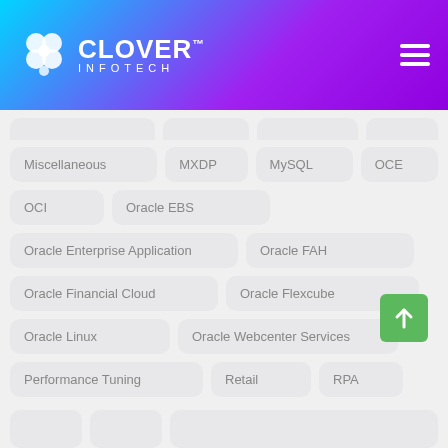[Figure (logo): Clover Infotech logo with clover icon and hamburger menu]
Miscellaneous
MXDP
MySQL
OCE
OCI
Oracle EBS
Oracle Enterprise Application
Oracle FAH
Oracle Financial Cloud
Oracle Flexcube
Oracle Linux
Oracle Webcenter Services
Performance Tuning
Retail
RPA